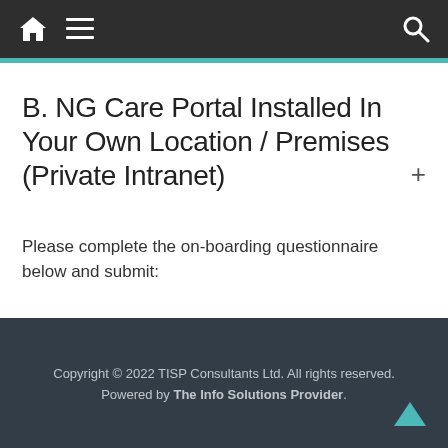Navigation bar with home icon, menu icon, and search icon
B. NG Care Portal Installed In Your Own Location / Premises (Private Intranet)
Please complete the on-boarding questionnaire below and submit:
Copyright © 2022 TISP Consultants Ltd. All rights reserved. Powered by The Info Solutions Provider.